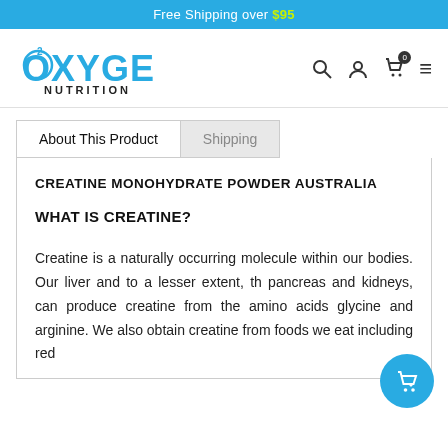Free Shipping over $95
[Figure (logo): Oxygen Nutrition logo in blue stylized text with O2 superscript]
About This Product | Shipping (tabs)
CREATINE MONOHYDRATE POWDER AUSTRALIA
WHAT IS CREATINE?
Creatine is a naturally occurring molecule within our bodies. Our liver and to a lesser extent, the pancreas and kidneys, can produce creatine from the amino acids glycine and arginine. We also obtain creatine from foods we eat including red